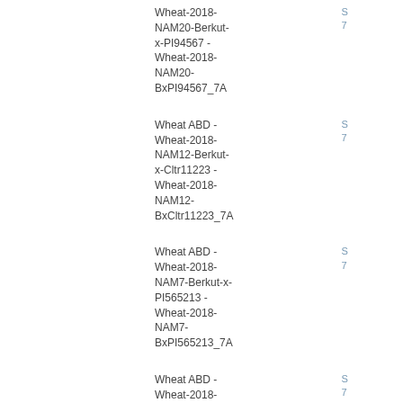| Name | Code |
| --- | --- |
| Wheat ABD - Wheat-2018-NAM20-Berkut-x-PI94567 - Wheat-2018-NAM20-BxPI94567_7A | S 7... |
| Wheat ABD - Wheat-2018-NAM12-Berkut-x-Cltr11223 - Wheat-2018-NAM12-BxCltr11223_7A | S 7... |
| Wheat ABD - Wheat-2018-NAM7-Berkut-x-PI565213 - Wheat-2018-NAM7-BxPI565213_7A | S 7... |
| Wheat ABD - Wheat-2018-NAM6-Berkut-x-PI470817 - Wheat-2018-NAM6-BxPI470817_7A | S 7... |
| Wheat ABD - |  |